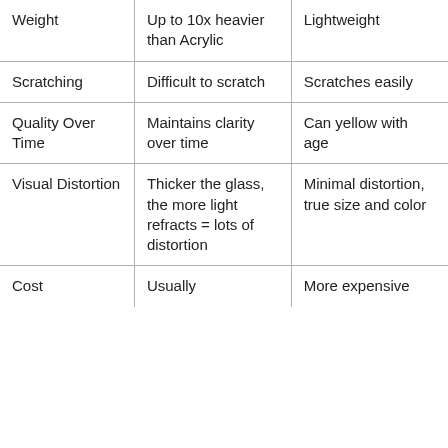| Weight | Up to 10x heavier than Acrylic | Lightweight |
| Scratching | Difficult to scratch | Scratches easily |
| Quality Over Time | Maintains clarity over time | Can yellow with age |
| Visual Distortion | Thicker the glass, the more light refracts = lots of distortion | Minimal distortion, true size and color |
| Cost | Usually | More expensive |